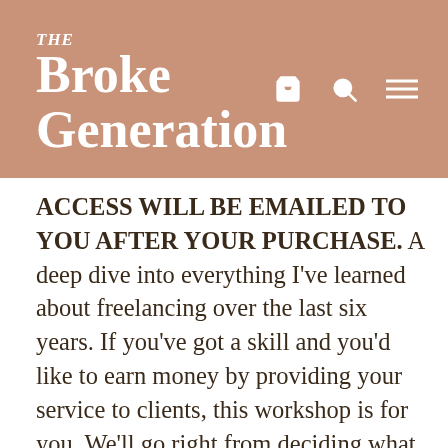THE Broke Generation
ACCESS WILL BE EMAILED TO YOU AFTER YOUR PURCHASE. A deep dive into everything I've learned about freelancing over the last six years. If you've got a skill and you'd like to earn money by providing your service to clients, this workshop is for you. We'll go right from deciding what you want to do and who for, to setting up a simple and affordable website, how to bring in paying clients, how to organise your invoicing and payments, and top tips and tricks to help you become a pro freelancer in